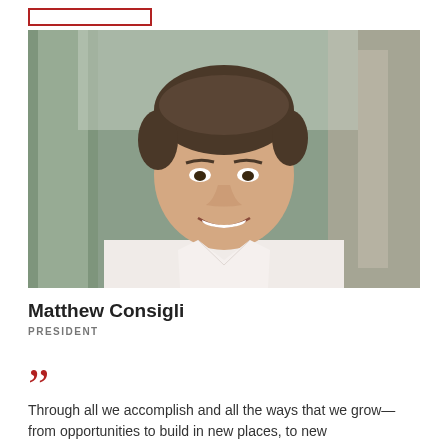[Figure (photo): Professional headshot of Matthew Consigli, a man in a white shirt smiling, with a blurred office corridor background]
Matthew Consigli
PRESIDENT
“Through all we accomplish and all the ways that we grow—from opportunities to build in new places, to new